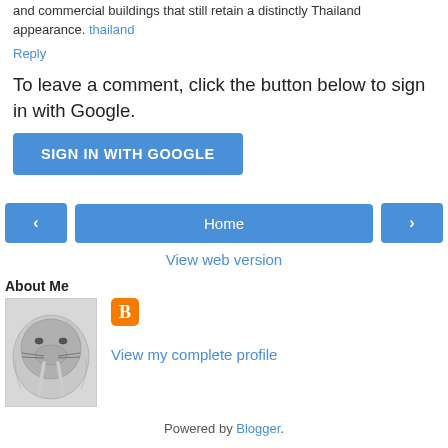and commercial buildings that still retain a distinctly Thailand appearance. thailand
Reply
To leave a comment, click the button below to sign in with Google.
SIGN IN WITH GOOGLE
[Figure (other): Navigation row with left arrow button, Home button, and right arrow button]
View web version
About Me
[Figure (photo): Pencil sketch illustration of a walrus head]
View my complete profile
Powered by Blogger.